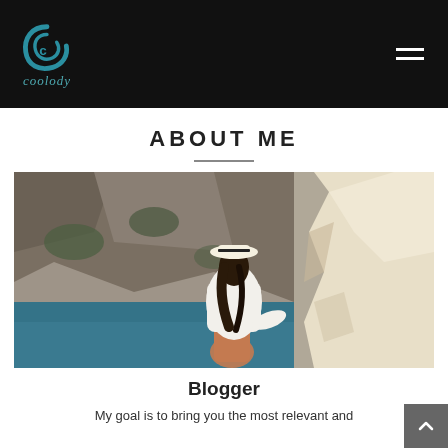Coolody — navigation header with logo and hamburger menu
ABOUT ME
[Figure (photo): Woman in white outfit and white hat sitting on white rocky cliffs by a blue sea, viewed from behind, with rocky mountain in background]
Blogger
My goal is to bring you the most relevant and